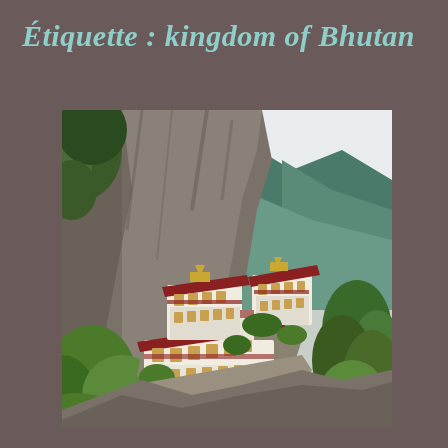Étiquette : kingdom of Bhutan
[Figure (photo): Photo of the Tiger's Nest monastery (Paro Taktsang) in Bhutan, a multi-storey traditional Buddhist temple complex built into a sheer cliff face. The white-walled buildings with red and golden roofs cling dramatically to the rocky mountain. Surrounding the cliff are lush green trees and forest. The background shows blue-green forested mountain slopes and an overcast sky.]